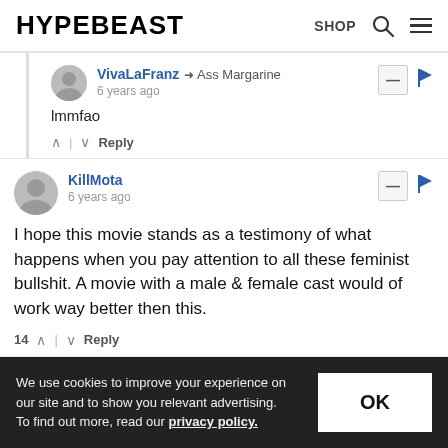HYPEBEAST — SHOP (navigation header)
VivaLaFranz → Ass Margarine
6 years ago
lmmfao
KillMota
6 years ago
I hope this movie stands as a testimony of what happens when you pay attention to all these feminist bullshit. A movie with a male & female cast would of work way better then this.
VivaLaFranz → KillMota
6 years ago
We use cookies to improve your experience on our site and to show you relevant advertising. To find out more, read our privacy policy.